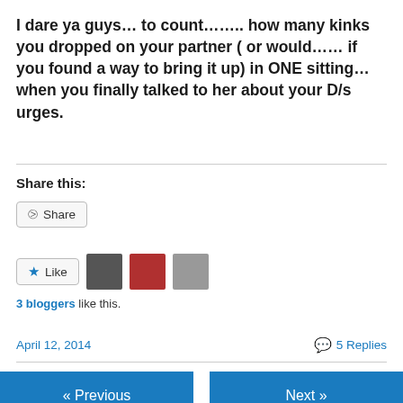I dare ya guys… to count…….. how many kinks you dropped on your partner ( or would…… if you found a way to bring it up) in ONE sitting…when you finally talked to her about your D/s urges.
Share this:
[Figure (screenshot): Share button with share icon]
[Figure (screenshot): Like button with star icon and 3 blogger avatars]
3 bloggers like this.
April 12, 2014    5 Replies
[Figure (screenshot): Navigation buttons: « Previous and Next »]